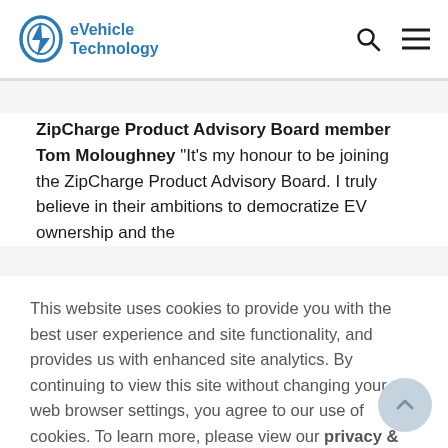eVehicle Technology
ZipCharge Product Advisory Board member Tom Moloughney "It's my honour to be joining the ZipCharge Product Advisory Board. I truly believe in their ambitions to democratize EV ownership and the...
This website uses cookies to provide you with the best user experience and site functionality, and provides us with enhanced site analytics. By continuing to view this site without changing your web browser settings, you agree to our use of cookies. To learn more, please view our privacy & cookies policy.
YES I AGREE